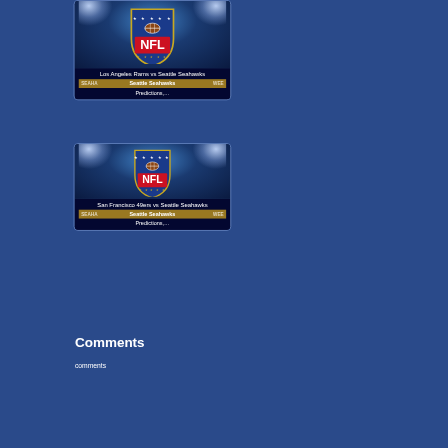[Figure (screenshot): NFL card for Los Angeles Rams vs Seattle Seahawks Predictions, with NFL shield logo and stadium lights background]
Los Angeles Rams vs Seattle Seahawks Predictions,…
[Figure (screenshot): NFL card for San Francisco 49ers vs Seattle Seahawks Predictions, with NFL shield logo and stadium lights background]
San Francisco 49ers vs Seattle Seahawks Predictions,…
Comments
comments